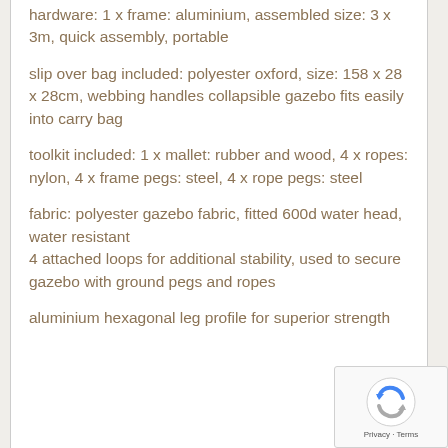hardware: 1 x frame: aluminium, assembled size: 3 x 3m, quick assembly, portable
slip over bag included: polyester oxford, size: 158 x 28 x 28cm, webbing handles collapsible gazebo fits easily into carry bag
toolkit included: 1 x mallet: rubber and wood, 4 x ropes: nylon, 4 x frame pegs: steel, 4 x rope pegs: steel
fabric: polyester gazebo fabric, fitted 600d water head, water resistant
4 attached loops for additional stability, used to secure gazebo with ground pegs and ropes
aluminium hexagonal leg profile for superior strength